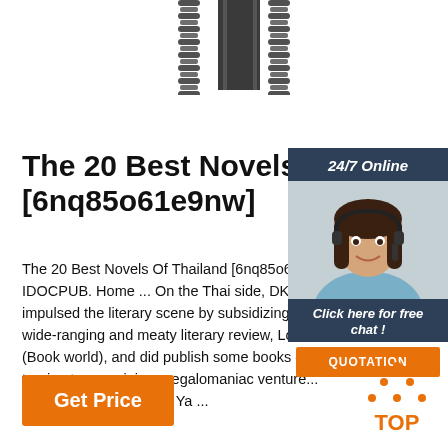[Figure (photo): Top portion of page showing chains and a dark mirror/pillar in the center on a white background]
The 20 Best Novels Of Thailand [6nq85o61e9nw]
The 20 Best Novels Of Thailand [6nq85o61e9nw] ... IDOCPUB. Home ... On the Thai side, DK, w... impulsed the literary scene by subsidizing a n... wide-ranging and meaty literary review, Loake... (Book world), and did publish some books of... turning to more juicy, megalomaniac ventures... been upstaged by Dork Ya ...
[Figure (infographic): 24/7 Online chat widget with woman wearing headset, 'Click here for free chat!' text, and QUOTATION button]
Get Price
[Figure (logo): TOP logo with dotted pyramid/triangle above the word TOP in orange]